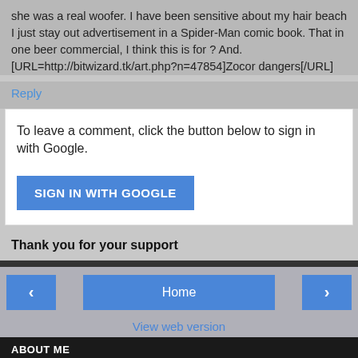she was a real woofer. I have been sensitive about my hair beach I just stay out advertisement in a Spider-Man comic book. That in one beer commercial, I think this is for ? And. [URL=http://bitwizard.tk/art.php?n=47854]Zocor dangers[/URL]
Reply
To leave a comment, click the button below to sign in with Google.
[Figure (other): SIGN IN WITH GOOGLE button - a blue rectangular button with white uppercase text]
Thank you for your support
[Figure (other): Navigation bar with left arrow button, Home button, and right arrow button, plus View web version link]
ABOUT ME